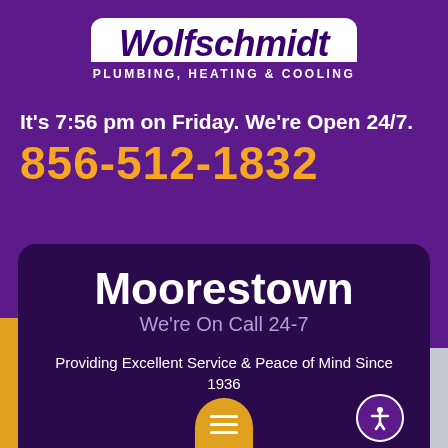[Figure (logo): Wolfschmidt Plumbing, Heating & Cooling logo in white box with purple text and purple subtitle bar]
It's 7:56 pm on Friday. We're Open 24/7.
856-512-1832
Moorestown
We're On Call 24-7
Providing Excellent Service & Peace of Mind Since 1936